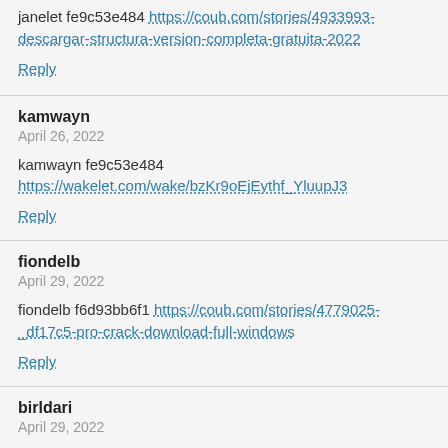janelet fe9c53e484 https://coub.com/stories/4933993-descargar-structura-version-completa-gratuita-2022
Reply
kamwayn
April 26, 2022
kamwayn fe9c53e484 https://wakelet.com/wake/bzKr9oEjEythf_YluupJ3
Reply
fiondelb
April 29, 2022
fiondelb f6d93bb6f1 https://coub.com/stories/4779025-_df17c5-pro-crack-download-full-windows
Reply
birldari
April 29, 2022
birldari f6d93bb6f1 https://www.guilded.gg/taiwinposus-